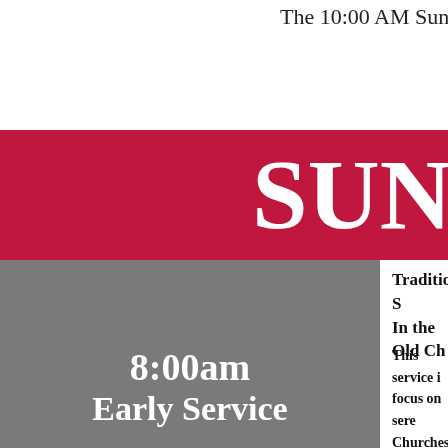The 10:00 AM Sunday S...
SUN
[Figure (other): Gray box background for 8:00am Early Service text]
8:00am
Early Service
Traditional S...
In the Old Ch...
This service i... focus on sere... Churches to s... walls of the O... close fellowsh... quick to exten... afterward for... S...